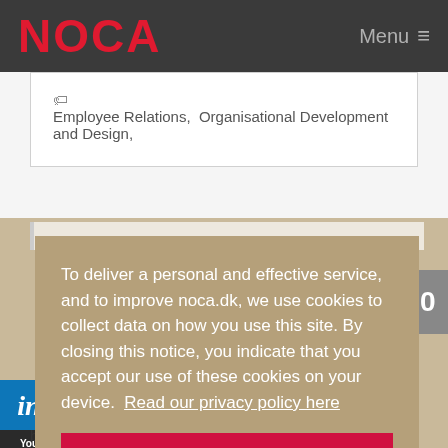NOCA  Menu
Employee Relations, Organisational Development and Design,
To deliver a personal and effective service, and to improve noca.dk, we use cookies to collect data on how you use this site. By closing this notice, you indicate that you accept our use of these cookies on your device.  Read our privacy policy here
Close notice and accept cookies
bade-og:  Read more